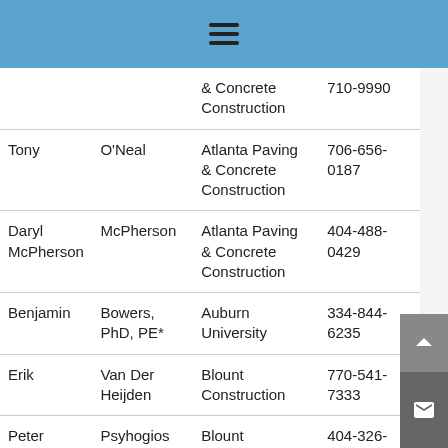☰ (hamburger menu icon)
| First Name | Last Name | Organization | Phone |
| --- | --- | --- | --- |
|  |  | & Concrete Construction | 710-9990 |
| Tony | O'Neal | Atlanta Paving & Concrete Construction | 706-656-0187 |
| Daryl McPherson | McPherson | Atlanta Paving & Concrete Construction | 404-488-0429 |
| Benjamin | Bowers, PhD, PE* | Auburn University | 334-844-6235 |
| Erik | Van Der Heijden | Blount Construction | 770-541-7333 |
| Peter | Psyhogios | Blount Construction | 404-326-7677 |